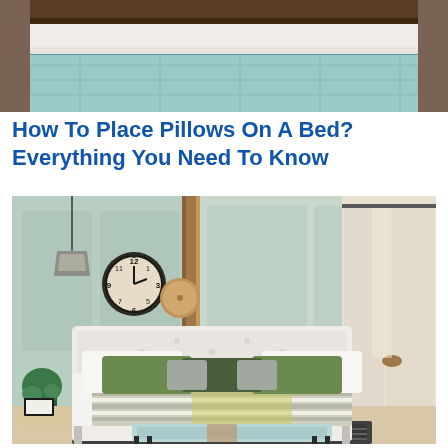[Figure (photo): Close-up of a bed with a light blue/teal quilted bedcover and white sheets, showing the top portion of the bed]
How To Place Pillows On A Bed? Everything You Need To Know
[Figure (photo): Stylish bedroom interior with mint green walls, white upholstered bed with green and grey pillows, striped and yellow-green throw blanket, decorative clocks on wall, pendant light, and light blue bench at foot of bed]